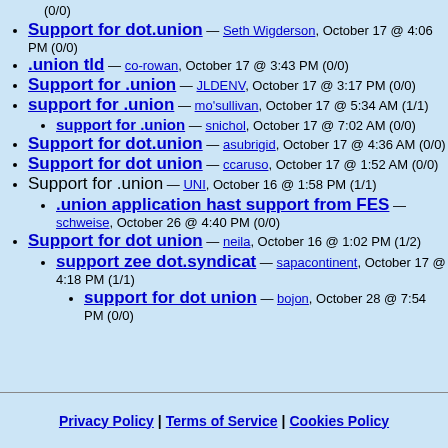(0/0)
Support for dot.union — Seth Wigderson, October 17 @ 4:06 PM (0/0)
.union tld — co-rowan, October 17 @ 3:43 PM (0/0)
Support for .union — JLDENV, October 17 @ 3:17 PM (0/0)
support for .union — mo'sullivan, October 17 @ 5:34 AM (1/1)
support for .union — snichol, October 17 @ 7:02 AM (0/0)
Support for dot.union — asubrigid, October 17 @ 4:36 AM (0/0)
Support for dot union — ccaruso, October 17 @ 1:52 AM (0/0)
Support for .union — UNI, October 16 @ 1:58 PM (1/1)
.union application hast support from FES — schweise, October 26 @ 4:40 PM (0/0)
Support for dot union — neila, October 16 @ 1:02 PM (1/2)
support zee dot.syndicat — sapacontinent, October 17 @ 4:18 PM (1/1)
support for dot union — bojon, October 28 @ 7:54 PM (0/0)
Privacy Policy | Terms of Service | Cookies Policy